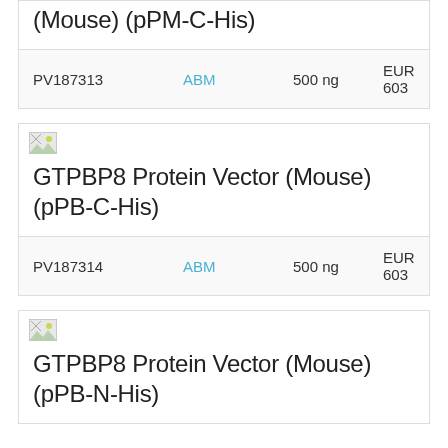(Mouse) (pPM-C-His)
| ID | Supplier | Amount | Price |
| --- | --- | --- | --- |
| PV187313 | ABM | 500 ng | EUR 603 |
[Figure (other): Broken image placeholder for GTPBP8 Protein Vector (Mouse) (pPB-C-His) product]
GTPBP8 Protein Vector (Mouse) (pPB-C-His)
| ID | Supplier | Amount | Price |
| --- | --- | --- | --- |
| PV187314 | ABM | 500 ng | EUR 603 |
[Figure (other): Broken image placeholder for GTPBP8 Protein Vector (Mouse) (pPB-N-His) product]
GTPBP8 Protein Vector (Mouse) (pPB-N-His)